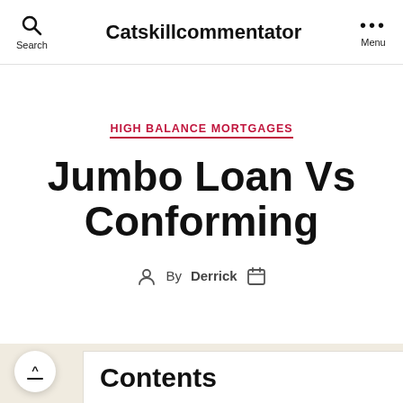Catskillcommentator
HIGH BALANCE MORTGAGES
Jumbo Loan Vs Conforming
By Derrick
Contents